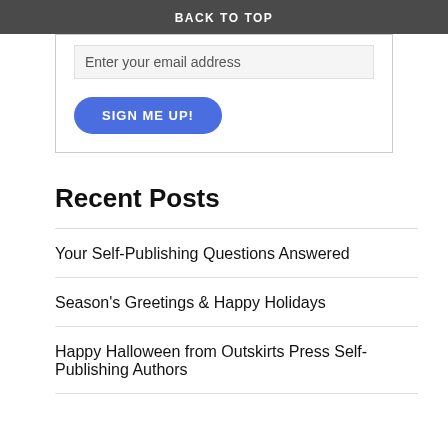BACK TO TOP
Enter your email address
SIGN ME UP!
Recent Posts
Your Self-Publishing Questions Answered
Season's Greetings & Happy Holidays
Happy Halloween from Outskirts Press Self-Publishing Authors